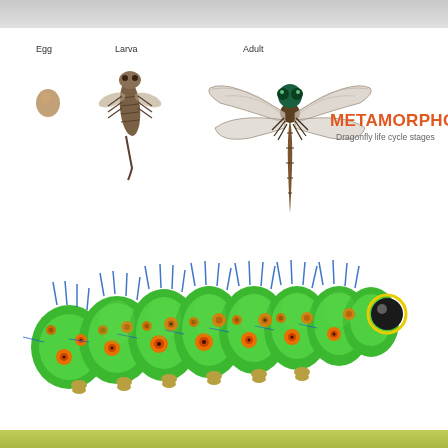[Figure (illustration): Dragonfly metamorphosis life cycle stages showing three stages: Egg (small round brown egg), Larva (brown aquatic nymph fly-like larva), and Adult (full grown dragonfly with large wings). Title reads METAMORPHOSIS - Dragonfly life cycle stages.]
[Figure (illustration): Large detailed illustration of a bright green caterpillar/larvae with orange and yellow eye-spot markings, blue-tipped spiky hairs/setae, golden prolegs at bottom, and a large black eye on the right side (head end). The caterpillar body is segmented and plump.]